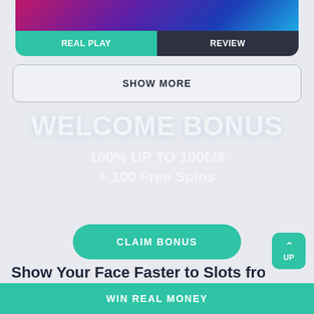[Figure (screenshot): Top game card with colorful gradient image, split buttons: REAL PLAY (teal) and REVIEW (dark)]
REAL PLAY
REVIEW
SHOW MORE
WELCOME BONUS
100% UP TO 100€/$ + 100 Free Spins
CLAIM BONUS
UP
Show Your Face Faster to Slots from
WIN REAL MONEY